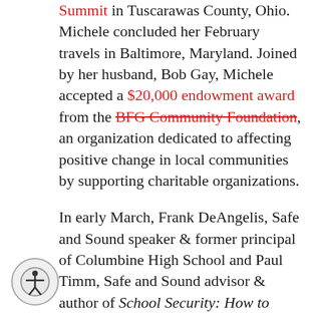Summit in Tuscarawas County, Ohio. Michele concluded her February travels in Baltimore, Maryland. Joined by her husband, Bob Gay, Michele accepted a $20,000 endowment award from the BFG Community Foundation, an organization dedicated to affecting positive change in local communities by supporting charitable organizations.

In early March, Frank DeAngelis, Safe and Sound speaker & former principal of Columbine High School and Paul Timm, Safe and Sound advisor & author of School Security: How to Build and Strengthen a School Safety Program, presented at the Axis School Safety Symposium in Syracuse, NY.  On the same day, Michele traveled back to the South, to Decatur, Alabama, where she presented to a